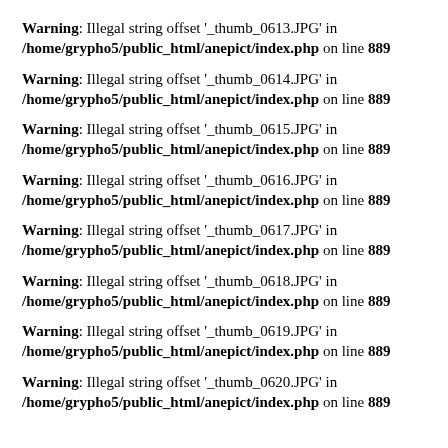Warning: Illegal string offset '_thumb_0613.JPG' in /home/grypho5/public_html/anepict/index.php on line 889
Warning: Illegal string offset '_thumb_0614.JPG' in /home/grypho5/public_html/anepict/index.php on line 889
Warning: Illegal string offset '_thumb_0615.JPG' in /home/grypho5/public_html/anepict/index.php on line 889
Warning: Illegal string offset '_thumb_0616.JPG' in /home/grypho5/public_html/anepict/index.php on line 889
Warning: Illegal string offset '_thumb_0617.JPG' in /home/grypho5/public_html/anepict/index.php on line 889
Warning: Illegal string offset '_thumb_0618.JPG' in /home/grypho5/public_html/anepict/index.php on line 889
Warning: Illegal string offset '_thumb_0619.JPG' in /home/grypho5/public_html/anepict/index.php on line 889
Warning: Illegal string offset '_thumb_0620.JPG' in /home/grypho5/public_html/anepict/index.php on line 889